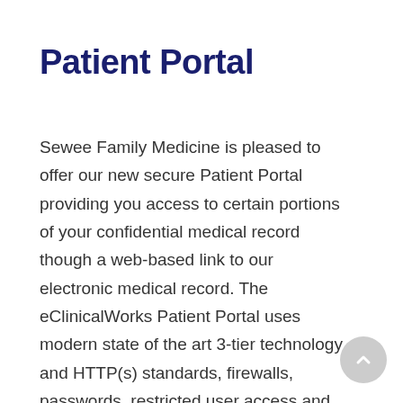Patient Portal
Sewee Family Medicine is pleased to offer our new secure Patient Portal providing you access to certain portions of your confidential medical record though a web-based link to our electronic medical record. The eClinicalWorks Patient Portal uses modern state of the art 3-tier technology and HTTP(s) standards, firewalls, passwords, restricted user access and encryption to protect your private health information. We believe this new addition will provide you with easier and more efficient access to your medical record